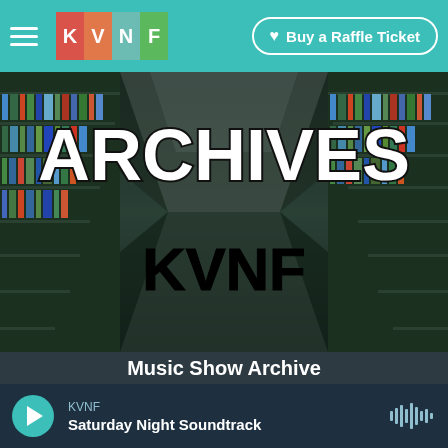KVNF — Buy a Raffle Ticket
[Figure (screenshot): KVNF Archives page banner showing library shelves with the word ARCHIVES in large white text and KVNF in large black text below it]
Music Show Archive
of KVNF's locally-produced music programs. Miss your favorite show? Want to hear one again? Find it on-demand here!
KVNF — Saturday Night Soundtrack